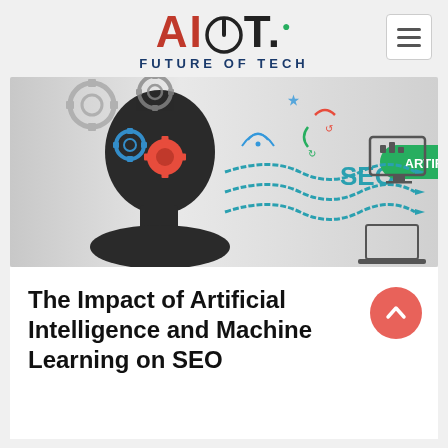AIIoT. FUTURE OF TECH
[Figure (illustration): AI and SEO concept illustration: silhouette of a human head with gears/cogs inside the brain area, connected via winding arrows and pipeline to various digital technology icons (social media, devices, analytics). A green rounded-rectangle badge reading 'ARTIFICIAL INTELLIGENCE' overlays the upper right. The word 'SEO' appears in teal letters on the left-center of the image.]
The Impact of Artificial Intelligence and Machine Learning on SEO